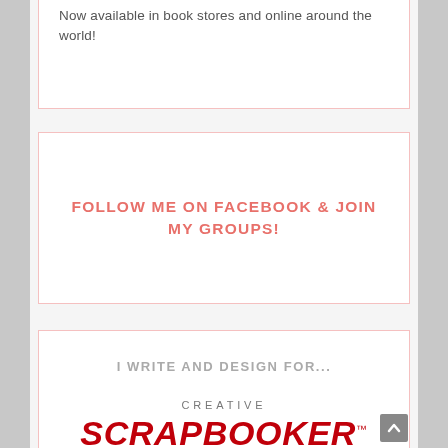Now available in book stores and online around the world!
FOLLOW ME ON FACEBOOK & JOIN MY GROUPS!
I WRITE AND DESIGN FOR...
[Figure (logo): Creative Scrapbooker magazine logo with CREATIVE in spaced letters above large bold italic SCRAPBOOKER text in dark red, with a TM superscript]